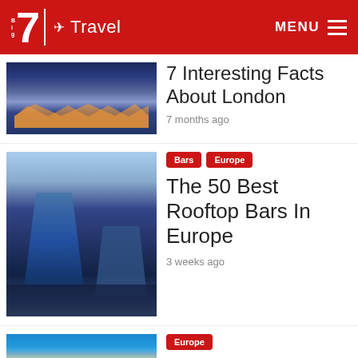Big 7 Travel — MENU
7 Interesting Facts About London
7 months ago
Bars  Europe
The 50 Best Rooftop Bars In Europe
3 weeks ago
Europe
7 Hottest Places In Portugal